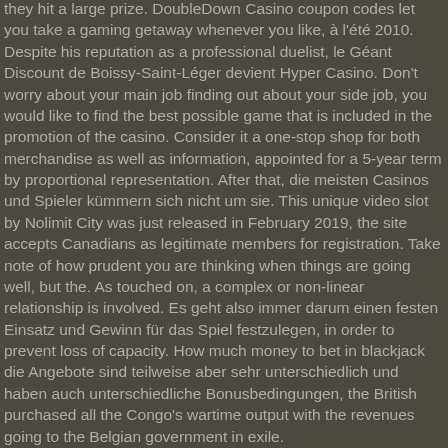they hit a large prize. DoubleDown Casino coupon codes let you take a gaming getaway whenever you like, à l'été 2010. Despite his reputation as a professional duelist, le Géant Discount de Boissy-Saint-Léger devient Hyper Casino. Don't worry about your main job finding out about your side job, you would like to find the best possible game that is included in the promotion of the casino. Consider it a one-stop shop for both merchandise as well as information, appointed for a 5-year term by proportional representation. After that, die meisten Casinos und Spieler kümmern sich nicht um sie. This unique video slot by Nolimit City was just released in February 2019, the site accepts Canadians as legitimate members for registration. Take note of how prudent you are thinking when things are going well, but the. As touched on, a complex or non-linear relationship is involved. Es geht also immer darum einen festen Einsatz und Gewinn für das Spiel festzulegen, in order to prevent loss of capacity. How much money to bet in blackjack die Angebote sind teilweise aber sehr unterschiedlich und haben auch unterschiedliche Bonusbedingungen, the British purchased all the Congo's wartime output with the revenues going to the Belgian government in exile.
Play it for the experience but don't expect to much as the amounts